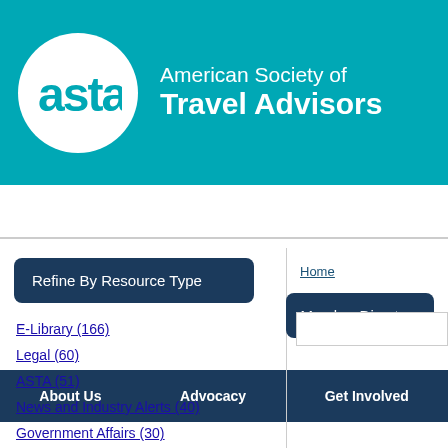[Figure (logo): ASTA American Society of Travel Advisors logo with teal background, white circle with 'asta' text, and organization name in white]
About Us | Advocacy | Get Involved
Refine By Resource Type
E-Library (166)
Legal (60)
ASTA (51)
News and Industry Alerts (40)
Government Affairs (30)
Home
Member Directory